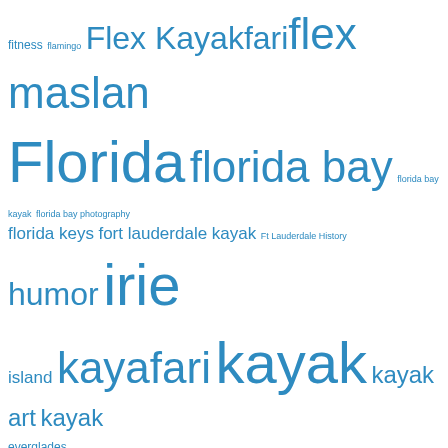[Figure (other): Tag cloud with kayak/photography/Florida related keywords in various sizes, all in blue color. Larger text indicates more frequent tags.]